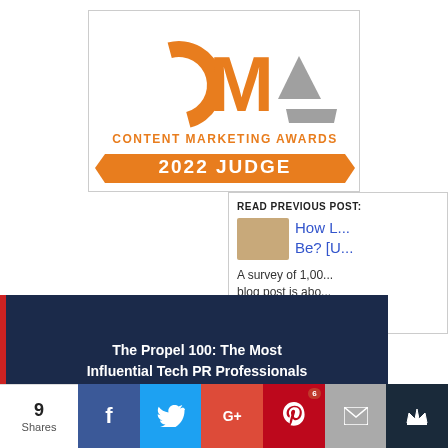[Figure (logo): Content Marketing Awards 2022 Judge badge. Orange CMA logo with large C, M, A letters and two gray triangles. Text: CONTENT MARKETING AWARDS and 2022 JUDGE on orange ribbon banner.]
READ PREVIOUS POST:
How L... Be? [U...
A survey of 1,00... blog post is abo...
The Propel 100: The Most Influential Tech PR Professionals in the World 2021
9 Shares
f
t
G+
P 6
✉
♛